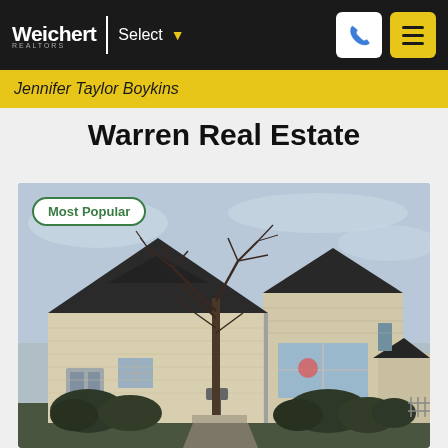Weichert REALTORS | Select — Jennifer Taylor Boykins
Warren Real Estate
[Figure (photo): Exterior photo of a residential home with light yellow/cream siding, dark roof, bare trees in front, and shrubs along the front. Badge overlay reads 'Most Popular'.]